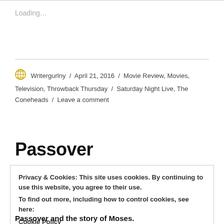Loading…
Writergurlny / April 21, 2016 / Movie Review, Movies, Television, Throwback Thursday / Saturday Night Live, The Coneheads / Leave a comment
Passover
Privacy & Cookies: This site uses cookies. By continuing to use this website, you agree to their use.
To find out more, including how to control cookies, see here:
Cookie Policy
Close and accept
Passover and the story of Moses.